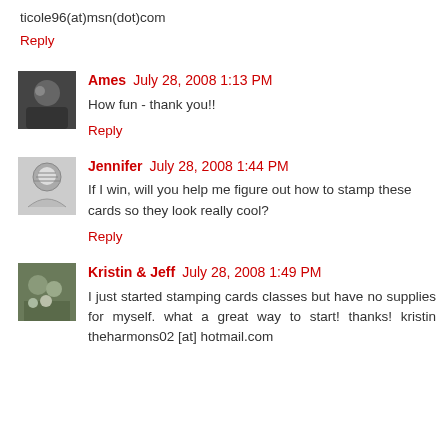ticole96(at)msn(dot)com
Reply
Ames  July 28, 2008 1:13 PM
How fun - thank you!!
Reply
Jennifer  July 28, 2008 1:44 PM
If I win, will you help me figure out how to stamp these cards so they look really cool?
Reply
Kristin & Jeff  July 28, 2008 1:49 PM
I just started stamping cards classes but have no supplies for myself. what a great way to start! thanks! kristin theharmons02 [at] hotmail.com